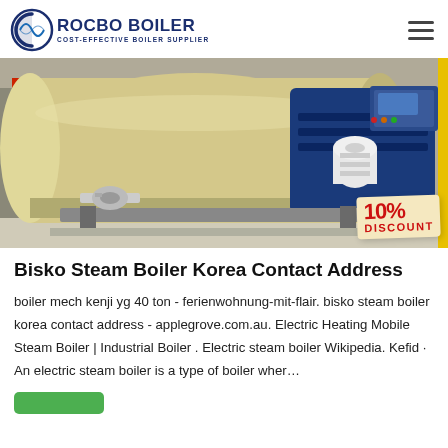ROCBO BOILER — COST-EFFECTIVE BOILER SUPPLIER
[Figure (photo): Industrial horizontal fire-tube steam boiler in a factory setting, showing the large cylindrical tan/cream body on the left with red piping, and a blue burner/control head unit on the right with a white motor and a control panel with colored indicator lights. A '10% DISCOUNT' badge is overlaid in the bottom right corner.]
Bisko Steam Boiler Korea Contact Address
boiler mech kenji yg 40 ton - ferienwohnung-mit-flair. bisko steam boiler korea contact address - applegrove.com.au. Electric Heating Mobile Steam Boiler | Industrial Boiler . Electric steam boiler Wikipedia. Kefid · An electric steam boiler is a type of boiler wher…